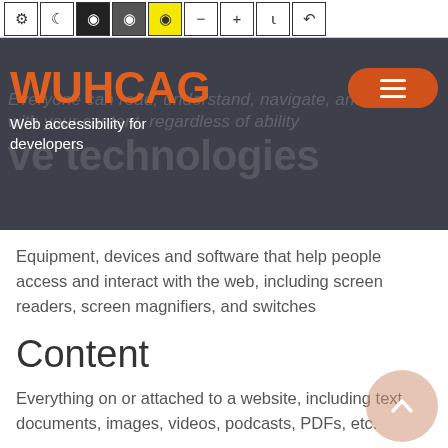[Figure (screenshot): Accessibility toolbar with icons: settings gear, crescent moon, eye, eye with highlight (orange), eye with yellow background (active), minus circle, plus circle, font resize, undo]
[Figure (screenshot): WUHCAG website hero banner with dark background, orange WUHCAG logo, tagline 'Web accessibility for developers', orange hamburger menu button, and faded background text about assistive technologies]
Equipment, devices and software that help people access and interact with the web, including screen readers, screen magnifiers, and switches
Content
Everything on or attached to a website, including text, documents, images, videos, podcasts, PDFs, etc.
Search engine optimization